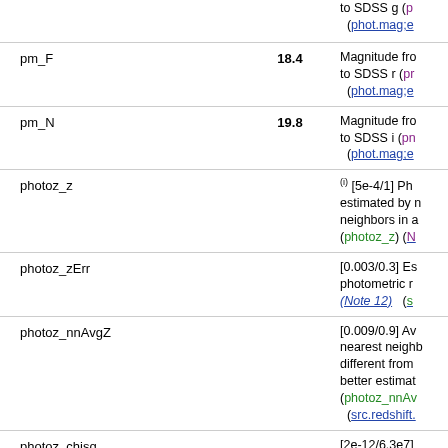| Name | Value | Description |
| --- | --- | --- |
| pm_F | 18.4 | Magnitude from ... to SDSS r (pr... (phot.mag;e... |
| pm_N | 19.8 | Magnitude from ... to SDSS i (pn... (phot.mag;e... |
| photoz_z |  | (i) [5e-4/1] Ph... estimated by n... neighbors in a... (photoz_z) (N... |
| photoz_zErr |  | [0.003/0.3] Es... photometric r... (Note 12)  (s... |
| photoz_nnAvgZ |  | [0.009/0.9] Av... nearest neighb... different from... better estimat... (photoz_nnAv... (src.redshift... |
| photoz_chisq |  | [2e-12/6.3e7]... the minimum ... (photoz_chisq... |